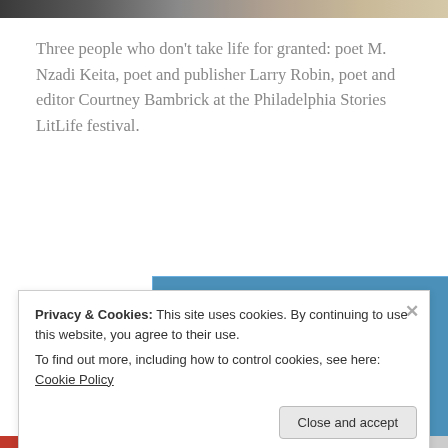[Figure (photo): Partial view of a photograph showing people at the Philadelphia Stories LitLife festival]
Three people who don't take life for granted: poet M. Nzadi Keita, poet and publisher Larry Robin, poet and editor Courtney Bambrick at the Philadelphia Stories LitLife festival.
[Figure (screenshot): Automattic advertisement with blue background. Logo text: AUTOMATTIC. Headline: Love working again. Button: Apply]
Privacy & Cookies: This site uses cookies. By continuing to use this website, you agree to their use.
To find out more, including how to control cookies, see here: Cookie Policy
Close and accept